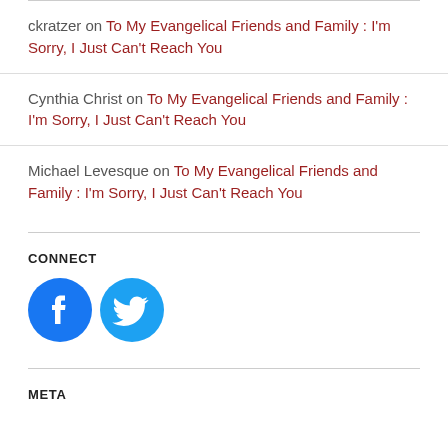ckratzer on To My Evangelical Friends and Family : I'm Sorry, I Just Can't Reach You
Cynthia Christ on To My Evangelical Friends and Family : I'm Sorry, I Just Can't Reach You
Michael Levesque on To My Evangelical Friends and Family : I'm Sorry, I Just Can't Reach You
CONNECT
[Figure (logo): Facebook and Twitter social media icon buttons]
META